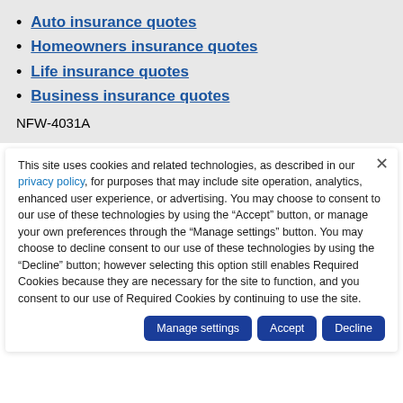Auto insurance quotes
Homeowners insurance quotes
Life insurance quotes
Business insurance quotes
NFW-4031A
This site uses cookies and related technologies, as described in our privacy policy, for purposes that may include site operation, analytics, enhanced user experience, or advertising. You may choose to consent to our use of these technologies by using the “Accept” button, or manage your own preferences through the “Manage settings” button. You may choose to decline consent to our use of these technologies by using the “Decline” button; however selecting this option still enables Required Cookies because they are necessary for the site to function, and you consent to our use of Required Cookies by continuing to use the site.